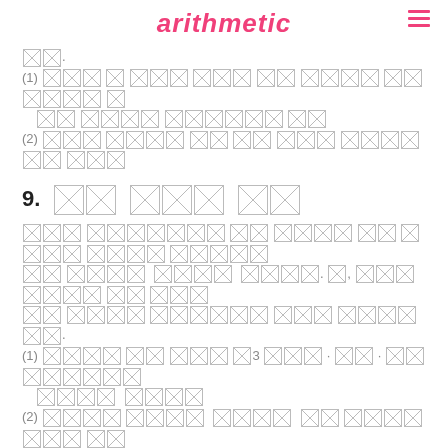arithmetic
[redacted numbered list items 1-2 under intro section]
9. [redacted]
[redacted paragraph and sub-items 1-3 under section 9]
10. [redacted]
[redacted paragraph text under section 10]